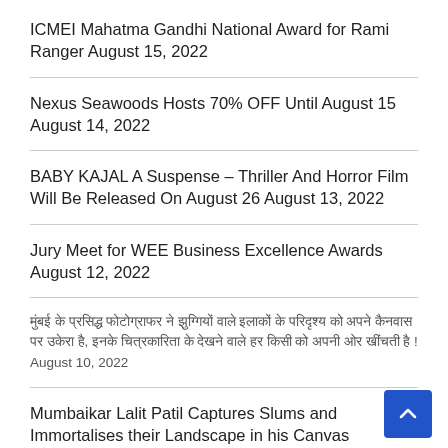ICMEI Mahatma Gandhi National Award for Rami Ranger August 15, 2022
Nexus Seawoods Hosts 70% OFF Until August 15 August 14, 2022
BABY KAJAL A Suspense – Thriller And Horror Film Will Be Released On August 26 August 13, 2022
Jury Meet for WEE Business Excellence Awards August 12, 2022
[Hindi text] August 10, 2022
Mumbaikar Lalit Patil Captures Slums and Immortalises their Landscape in his Canvas August...